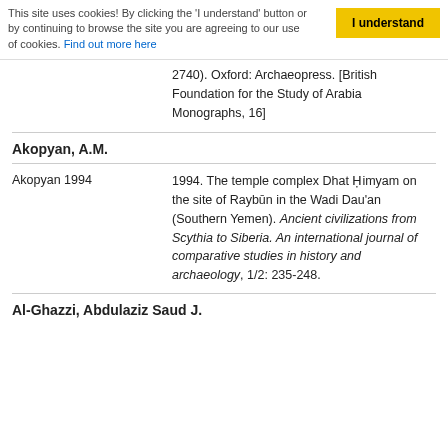This site uses cookies! By clicking the 'I understand' button or by continuing to browse the site you are agreeing to our use of cookies. Find out more here
2740). Oxford: Archaeopress. [British Foundation for the Study of Arabia Monographs, 16]
Akopyan, A.M.
Akopyan 1994
1994. The temple complex Dhat Ḥimyam on the site of Raybūn in the Wadi Dau'an (Southern Yemen). Ancient civilizations from Scythia to Siberia. An international journal of comparative studies in history and archaeology, 1/2: 235-248.
Al-Ghazzi, Abdulaziz Saud J.